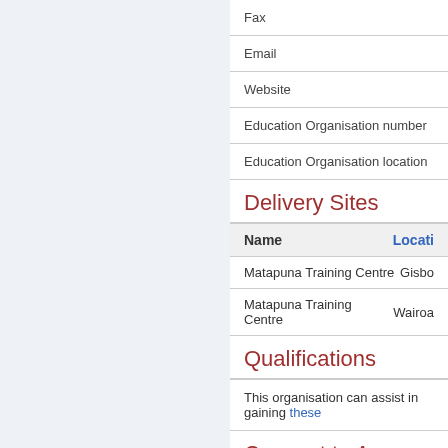Fax
Email
Website
Education Organisation number
Education Organisation location
Delivery Sites
| Name | Location |
| --- | --- |
| Matapuna Training Centre | Gisborne |
| Matapuna Training Centre | Wairoa |
Qualifications
This organisation can assist in gaining these
Consent to Assess
The organisation has consent to assess again
Degrees, Programmes and